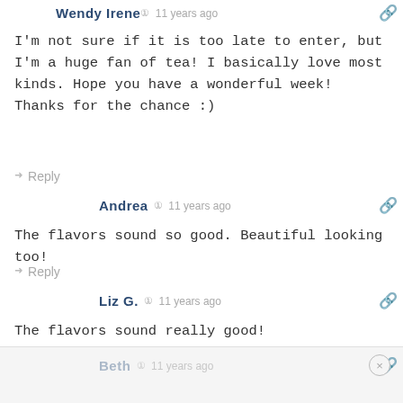Wendy Irene · 11 years ago
I'm not sure if it is too late to enter, but I'm a huge fan of tea! I basically love most kinds. Hope you have a wonderful week! Thanks for the chance :)
Reply
Andrea · 11 years ago
The flavors sound so good. Beautiful looking too!
Reply
Liz G. · 11 years ago
The flavors sound really good!
Reply
Beth · 11 years ago